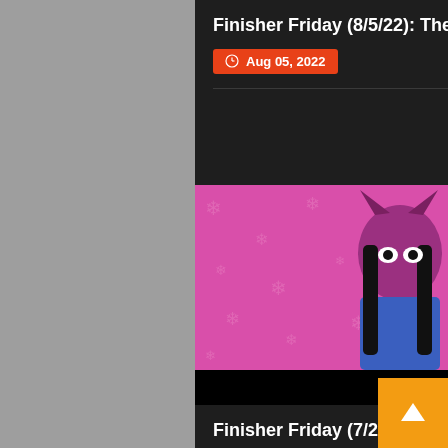Finisher Friday (8/5/22): The Von Erich Claw Before Time
Aug 05, 2022
[Figure (photo): Promotional image for SLK article showing a masked wrestler in pink costume with cats, text reading THE EVOLUTION OF SLK]
Finisher Friday (7/22/22): SLK? More Like BLK To Me
Jul 22, 2022
[Figure (photo): Photo of wrestlers in a wrestling ring, close-up action shot]
Finisher Friday (7/15/22): When A Tiger